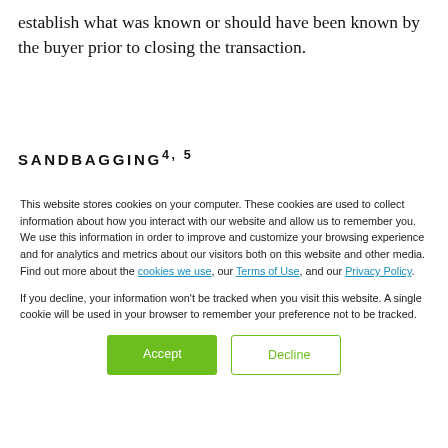establish what was known or should have been known by the buyer prior to closing the transaction.
SANDBAGGING4,5
This website stores cookies on your computer. These cookies are used to collect information about how you interact with our website and allow us to remember you. We use this information in order to improve and customize your browsing experience and for analytics and metrics about our visitors both on this website and other media. Find out more about the cookies we use, our Terms of Use, and our Privacy Policy.

If you decline, your information won't be tracked when you visit this website. A single cookie will be used in your browser to remember your preference not to be tracked.